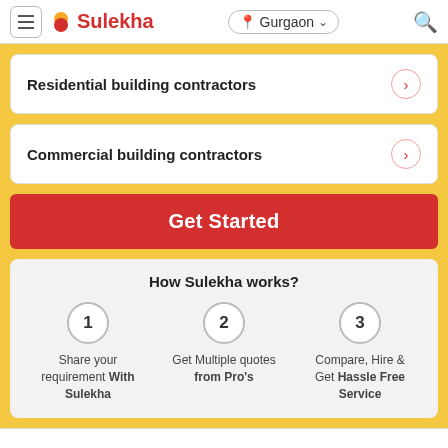Sulekha — Gurgaon (navigation bar)
Residential building contractors
Commercial building contractors
Get Started
How Sulekha works?
1 — Share your requirement With Sulekha
2 — Get Multiple quotes from Pro's
3 — Compare, Hire & Get Hassle Free Service
About | Listings | Ask the expertNew | Blog A